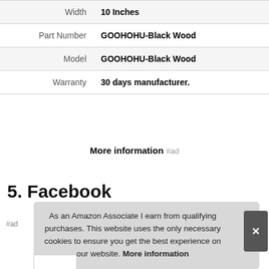| Attribute | Value |
| --- | --- |
| Width | 10 Inches |
| Part Number | GOOHOHU-Black Wood |
| Model | GOOHOHU-Black Wood |
| Warranty | 30 days manufacturer. |
More information #ad
5. Facebook
#ad
As an Amazon Associate I earn from qualifying purchases. This website uses the only necessary cookies to ensure you get the best experience on our website. More information